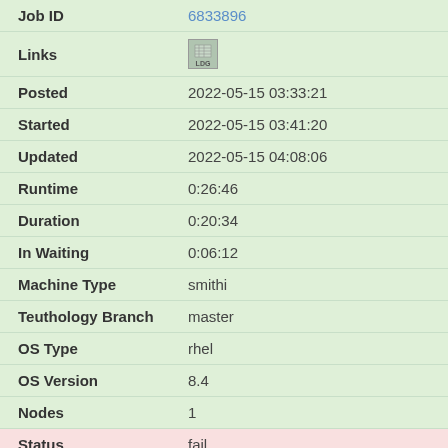| Field | Value |
| --- | --- |
| Job ID | 6833896 |
| Links | [LOG icon] |
| Posted | 2022-05-15 03:33:21 |
| Started | 2022-05-15 03:41:20 |
| Updated | 2022-05-15 04:08:06 |
| Runtime | 0:26:46 |
| Duration | 0:20:34 |
| In Waiting | 0:06:12 |
| Machine Type | smithi |
| Teuthology Branch | master |
| OS Type | rhel |
| OS Version | 8.4 |
| Nodes | 1 |
| Status | fail |
| Job ID | 6833897 |